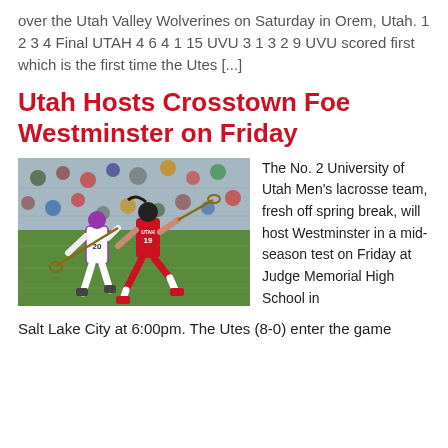over the Utah Valley Wolverines on Saturday in Orem, Utah. 1 2 3 4 Final UTAH 4 6 4 1 15 UVU 3 1 3 2 9 UVU scored first which is the first time the Utes [...]
Utah Hosts Crosstown Foe Westminster on Friday
[Figure (photo): Two lacrosse players in action on a green field with a crowd in the background. One player in a red Utah jersey (#19) and another in a white/purple jersey (#20) with lacrosse sticks.]
The No. 2 University of Utah Men's lacrosse team, fresh off spring break, will host Westminster in a mid-season test on Friday at Judge Memorial High School in Salt Lake City at 6:00pm. The Utes (8-0) enter the game